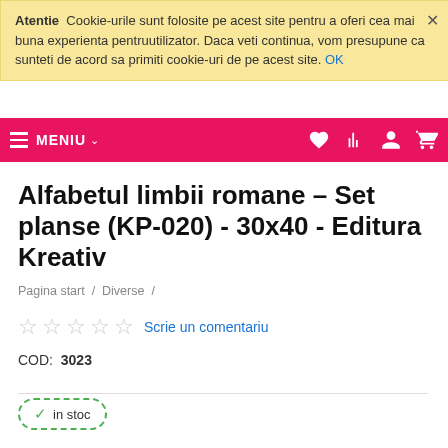Atentie Cookie-urile sunt folosite pe acest site pentru a oferi cea mai buna experienta pentruutilizator. Daca veti continua, vom presupune ca sunteti de acord sa primiti cookie-uri de pe acest site. OK
MENIU
Alfabetul limbii romane – Set planse (KP-020) - 30x40 - Editura Kreativ
Pagina start / Diverse /
Scrie un comentariu
COD: 3023
in stoc